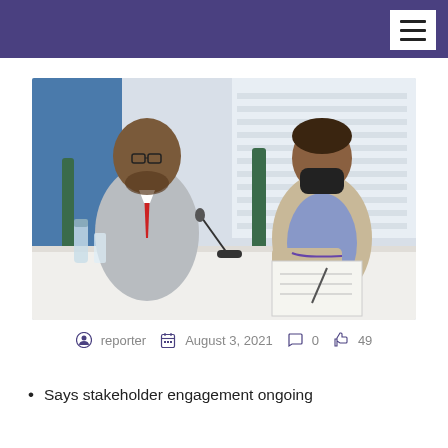[Figure (photo): Two people seated at a conference table. On the left, a man in a grey suit with a red tie and glasses speaks into a microphone. On the right, a woman in a beige blazer and blue patterned top wears a black face mask and writes in a notebook. A blue wall and louvered windows are visible in the background.]
reporter   August 3, 2021   0   49
Says stakeholder engagement ongoing